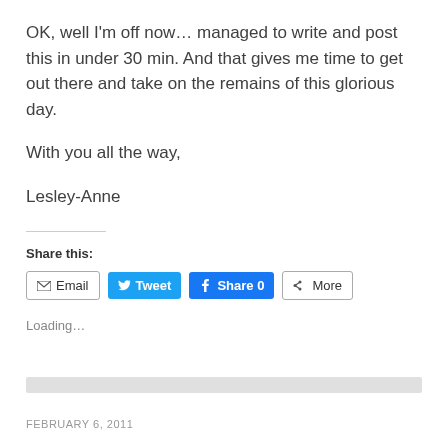OK, well I'm off now... managed to write and post this in under 30 min. And that gives me time to get out there and take on the remains of this glorious day.
With you all the way,
Lesley-Anne
Share this:
[Figure (screenshot): Social sharing buttons: Email, Tweet, Share 0, More]
Loading...
FEBRUARY 6, 2011